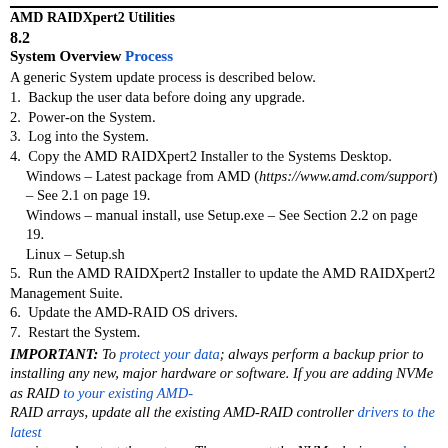AMD RAIDXpert2 Utilities
8.2
System Overview Process
A generic System update process is described below.
1.  Backup the user data before doing any upgrade.
2.  Power-on the System.
3.  Log into the System.
4.  Copy the AMD RAIDXpert2 Installer to the Systems Desktop.
Windows – Latest package from AMD (https://www.amd.com/support) – See 2.1 on page 19.
Windows – manual install, use Setup.exe – See Section 2.2 on page 19.
Linux – Setup.sh
5.  Run the AMD RAIDXpert2 Installer to update the AMD RAIDXpert2 Management Suite.
6.  Update the AMD-RAID OS drivers.
7.  Restart the System.
IMPORTANT: To protect your data; always perform a backup prior to installing any new, major hardware or software. If you are adding NVMe as RAID to your existing AMD-RAID arrays, update all the existing AMD-RAID controller drivers to the latest version and restart the system. Then connect the NVMe devices and install the